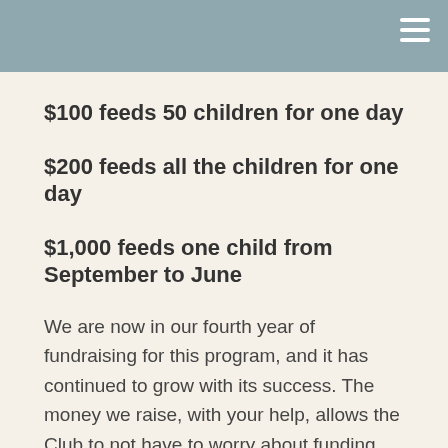$100 feeds 50 children for one day
$200 feeds all the children for one day
$1,000 feeds one child from September to June
We are now in our fourth year of fundraising for this program, and it has continued to grow with its success. The money we raise, with your help, allows the Club to not have to worry about funding this vital portion of their work. It allows them to grow other programing,